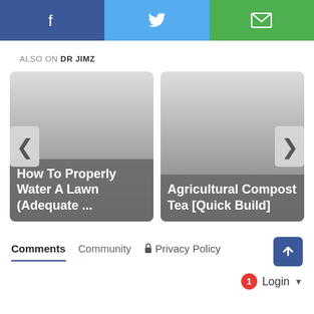[Figure (screenshot): Social share buttons: Facebook (dark blue), Twitter (light blue), Email/envelope (green)]
ALSO ON DR JIMZ
[Figure (screenshot): Card carousel with two article cards: 'How To Properly Water A Lawn (Adequate ...' and 'Agricultural Compost Tea [Quick Build]', with left and right navigation arrows]
Comments  Community  Privacy Policy  [up arrow button]
1  Login